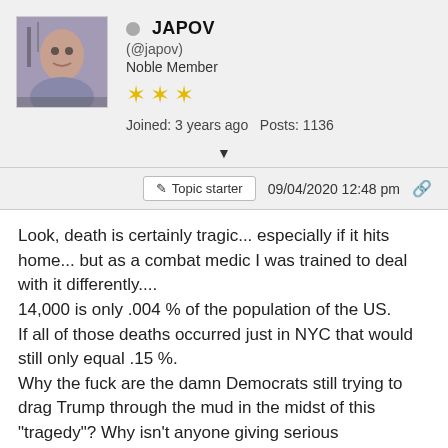[Figure (photo): User avatar photo showing a person's face]
JAPOV
(@japov)
Noble Member
Joined: 3 years ago   Posts: 1136
Topic starter   09/04/2020 12:48 pm
Look, death is certainly tragic... especially if it hits home... but as a combat medic I was trained to deal with it differently....
14,000 is only .004 % of the population of the US.
If all of those deaths occurred just in NYC that would still only equal .15 %.
Why the fuck are the damn Democrats still trying to drag Trump through the mud in the midst of this "tragedy"? Why isn't anyone giving serious consideration to the fact that... ALL IT TOOK WAS A VIRUS TO SHUT DOWN THE ENTIRE WORLD ECONOMY! Seriously, where are people's priorities at? How did